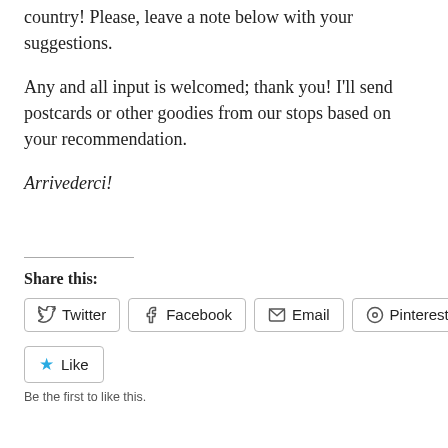country! Please, leave a note below with your suggestions.
Any and all input is welcomed; thank you! I'll send postcards or other goodies from our stops based on your recommendation.
Arrivederci!
Share this:
Twitter  Facebook  Email  Pinterest
Like
Be the first to like this.